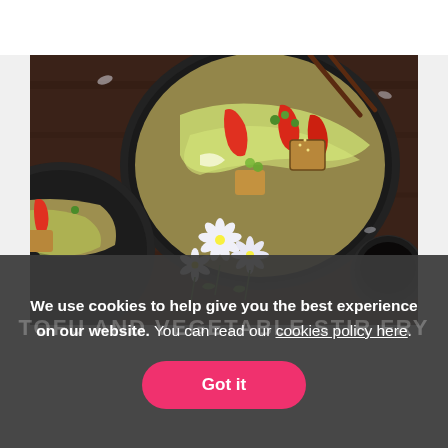[Figure (photo): Overhead photo of Asian food bowls with tofu stir fry, vegetables, chopsticks, white flowers, and a small bowl of dark sauce on a dark wooden surface]
We use cookies to help give you the best experience on our website. You can read our cookies policy here.
Got it